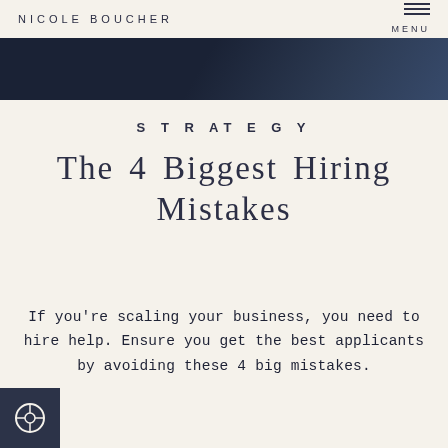NICOLE BOUCHER
[Figure (photo): Dark navy/dark blue hero image banner at top of page]
STRATEGY
The 4 Biggest Hiring Mistakes
If you're scaling your business, you need to hire help. Ensure you get the best applicants by avoiding these 4 big mistakes.